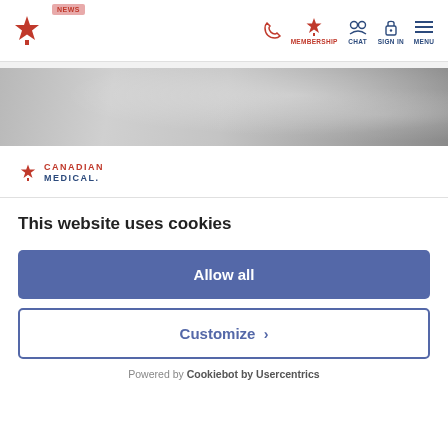Canadian Medical website navigation bar with logo, phone, membership, chat, sign in, and menu icons
[Figure (photo): Grayscale hero banner image showing a blurred outdoor scene]
[Figure (logo): Canadian Medical logo with maple leaf and text CANADIAN MEDICAL]
This website uses cookies
Allow all
Customize
Powered by Cookiebot by Usercentrics